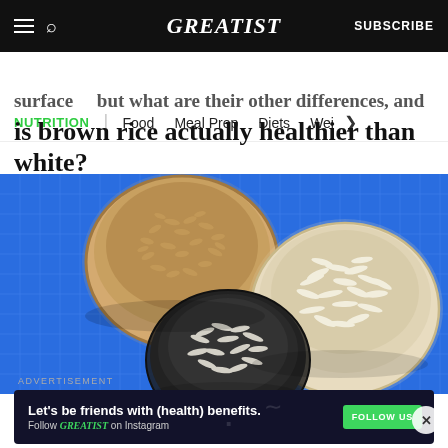GREATIST | SUBSCRIBE
NUTRITION | Food  Meal Prep  Diets  Wei >
surface   but what are their other differences, and is brown rice actually healthier than white?
[Figure (photo): Three bowls of different types of rice (brown rice, white rice, and a smaller bowl of rice) on a blue grid background]
ADVERTISEMENT
Let's be friends with (health) benefits. Follow GREATIST on Instagram  FOLLOW US